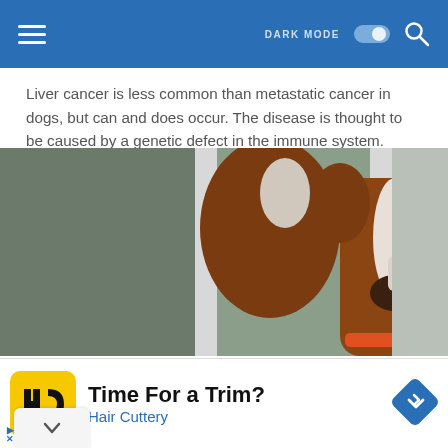DARK MODE [toggle] [search]
Liver cancer is less common than metastatic cancer in dogs, but can and does occur. The disease is thought to be caused by a genetic defect in the immune system.
[Figure (photo): Close-up photograph of a brown and white Boston Terrier dog looking through white vertical bars/rails, wearing an orange collar.]
Time For a Trim? Hair Cuttery